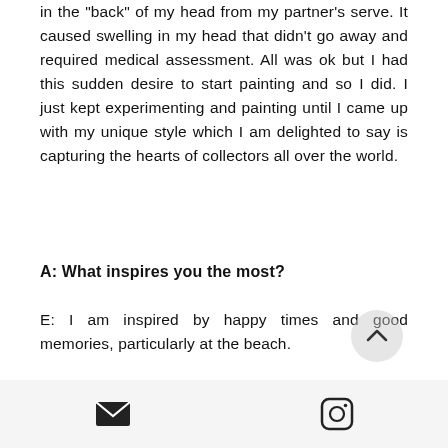in the back of my head from my partner's serve. It caused swelling in my head that didn't go away and required medical assessment. All was ok but I had this sudden desire to start painting and so I did. I just kept experimenting and painting until I came up with my unique style which I am delighted to say is capturing the hearts of collectors all over the world.
A: What inspires you the most?
E: I am inspired by happy times and good memories, particularly at the beach.
[email icon] [instagram icon]